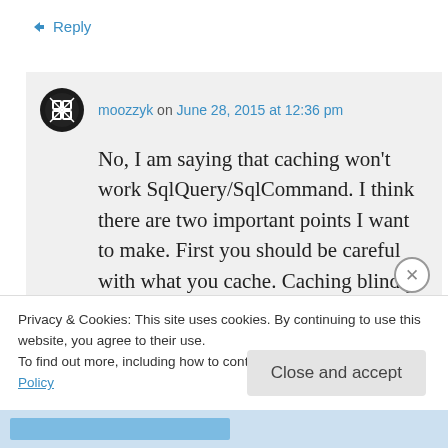↳ Reply
moozzyk on June 28, 2015 at 12:36 pm
No, I am saying that caching won't work SqlQuery/SqlCommand. I think there are two important points I want to make. First you should be careful with what you cache. Caching blindly results for all queries is probably not a good idea and may lead to
Privacy & Cookies: This site uses cookies. By continuing to use this website, you agree to their use.
To find out more, including how to control cookies, see here: Cookie Policy
Close and accept